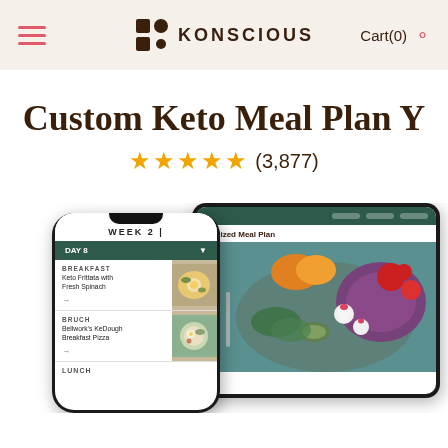KONSCIOUS — Cart(0)
Custom Keto Meal Plan Y
★★★★★ (3,877)
[Figure (screenshot): Mobile phone and tablet device mockups showing the Konscious Custom Keto Meal Plan app interface. The phone shows Week 2, Day 8 with meal categories (Breakfast: Keto Frittata with Fresh Spinach; Brunch: Bellwork's KeDough Breakfast Pizza; Lunch visible). The tablet shows a personalized meal plan with a hero image of a colorful keto meal bowl with vegetables.]